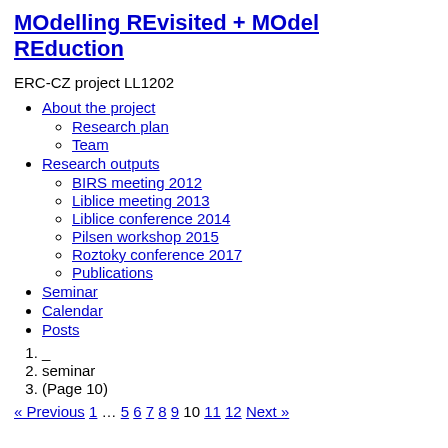MOdelling REvisited + MOdel REduction
ERC-CZ project LL1202
About the project
Research plan
Team
Research outputs
BIRS meeting 2012
Liblice meeting 2013
Liblice conference 2014
Pilsen workshop 2015
Roztoky conference 2017
Publications
Seminar
Calendar
Posts
1. _
2. seminar
3. (Page 10)
« Previous 1 … 5 6 7 8 9 10 11 12 Next »